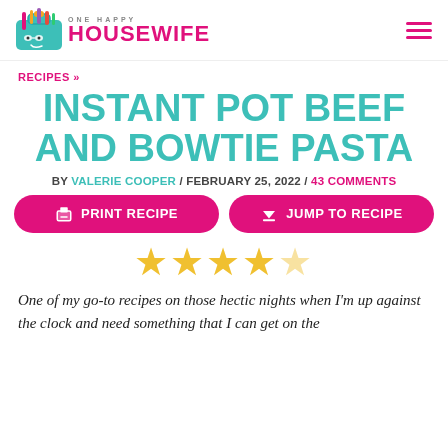ONE HAPPY HOUSEWIFE
RECIPES »
INSTANT POT BEEF AND BOWTIE PASTA
BY VALERIE COOPER / FEBRUARY 25, 2022 / 43 COMMENTS
PRINT RECIPE  JUMP TO RECIPE
[Figure (other): 4.5 star rating shown as 4 filled gold stars and 1 half gold star]
One of my go-to recipes on those hectic nights when I'm up against the clock and need something that I can get on the